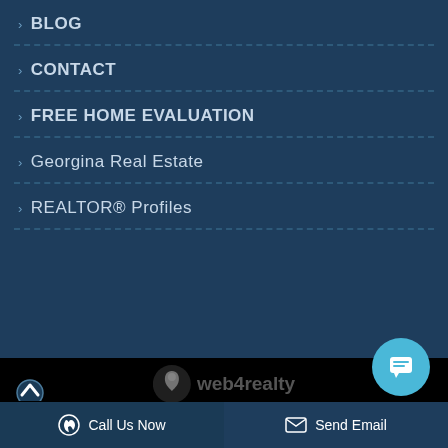› BLOG
› CONTACT
› FREE HOME EVALUATION
› Georgina Real Estate
› REALTOR® Profiles
[Figure (logo): web4realty logo with stylized leaf/person icon and text 'web4realty']
Call Us Now
Send Email